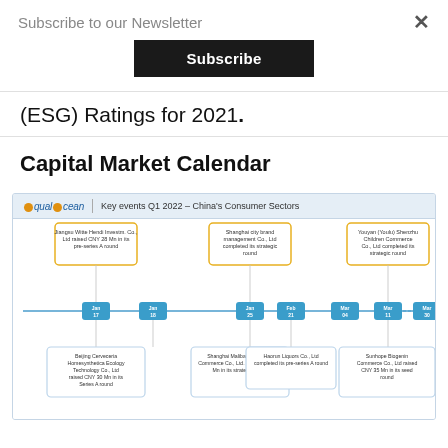Subscribe to our Newsletter
Subscribe
(ESG) Ratings for 2021.
Capital Market Calendar
[Figure (infographic): EqualOcean timeline infographic showing Key events Q1 2022 – China's Consumer Sectors. A horizontal timeline with date markers (Jan 17, Jan 18, Jan 25, Feb 21, Mar 04, Mar 11, Mar 30) and event boxes above and below describing fundraising rounds for Chinese consumer sector companies including: Jiangsu Witte Hendi Investment Co., Ltd raised CNY 28 Mn in its pre-series A round; Shanghai city brand management Co., Ltd completed its strategic round; Youyan (Youlu) Shenzhen Children Commerce Co., Ltd completed its strategic round; Beijing Cerveceria Homesynthetica Ecology Technology Co., Ltd raised CNY 30 Mn in its Series A round; Shanghai Malibaku Discount Commerce Co., Ltd. Raised CNY 58 Mn in its strategic round; Haorun Liquors Co., Ltd completed its pre-series A round; Sunhope Biogenin Commerce Co., Ltd raised CNY 35 Mn in its seed round.]